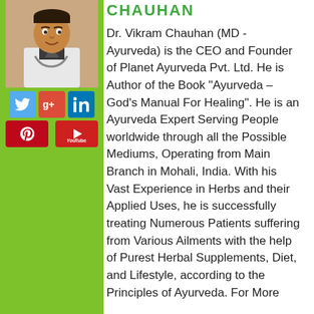CHAUHAN
[Figure (photo): Portrait photo of Dr. Vikram Chauhan in white doctor's coat with stethoscope]
[Figure (infographic): Social media icons: Twitter, Google+, LinkedIn, Pinterest, YouTube]
Dr. Vikram Chauhan (MD - Ayurveda) is the CEO and Founder of Planet Ayurveda Pvt. Ltd. He is Author of the Book "Ayurveda – God's Manual For Healing". He is an Ayurveda Expert Serving People worldwide through all the Possible Mediums, Operating from Main Branch in Mohali, India. With his Vast Experience in Herbs and their Applied Uses, he is successfully treating Numerous Patients suffering from Various Ailments with the help of Purest Herbal Supplements, Diet, and Lifestyle, according to the Principles of Ayurveda. For More